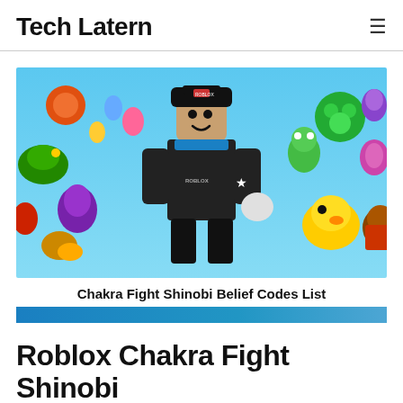Tech Latern
[Figure (photo): Roblox character in black outfit and cap surrounded by colorful Roblox game items and characters on a blue background]
Chakra Fight Shinobi Belief Codes List
Roblox Chakra Fight Shinobi